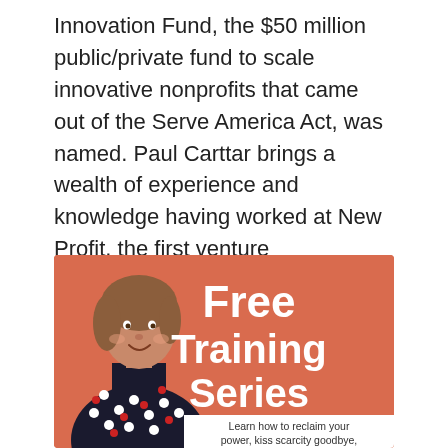Innovation Fund, the $50 million public/private fund to scale innovative nonprofits that came out of the Serve America Act, was named. Paul Carttar brings a wealth of experience and knowledge having worked at New Profit, the first venture philanthropy fund, and Bridgespan and Monitor consulting groups, [...]
[Figure (illustration): Promotional banner with coral/orange background showing a smiling woman with short brown hair wearing a dark floral-print shirt with white and red flowers. Text overlaid on the right side reads 'Free Training Series' in large white bold letters. A white banner at the bottom right reads 'Learn how to reclaim your power, kiss scarcity goodbye,']